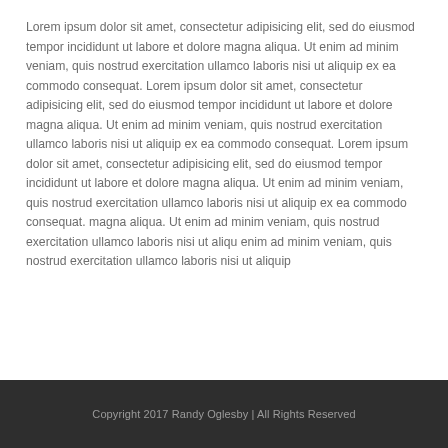Lorem ipsum dolor sit amet, consectetur adipisicing elit, sed do eiusmod tempor incididunt ut labore et dolore magna aliqua. Ut enim ad minim veniam, quis nostrud exercitation ullamco laboris nisi ut aliquip ex ea commodo consequat. Lorem ipsum dolor sit amet, consectetur adipisicing elit, sed do eiusmod tempor incididunt ut labore et dolore magna aliqua. Ut enim ad minim veniam, quis nostrud exercitation ullamco laboris nisi ut aliquip ex ea commodo consequat. Lorem ipsum dolor sit amet, consectetur adipisicing elit, sed do eiusmod tempor incididunt ut labore et dolore magna aliqua. Ut enim ad minim veniam, quis nostrud exercitation ullamco laboris nisi ut aliquip ex ea commodo consequat. magna aliqua. Ut enim ad minim veniam, quis nostrud exercitation ullamco laboris nisi ut aliqu enim ad minim veniam, quis nostrud exercitation ullamco laboris nisi ut aliquip
Copyright 2017 Randy Oglesby | All Rights Reserved